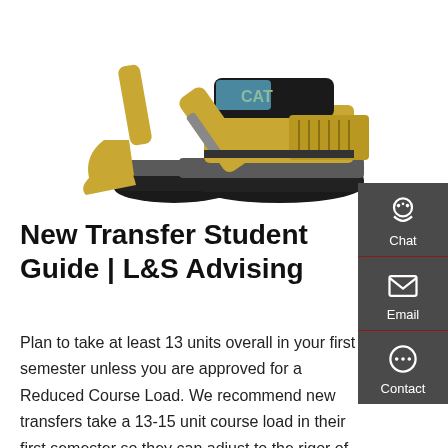[Figure (photo): CAT yellow excavator/construction machine on white background]
New Transfer Student Guide | L&S Advising
Plan to take at least 13 units overall in your first semester unless you are approved for a Reduced Course Load. We recommend new transfers take a 13-15 unit course load in their first semester so they can adjust to the rigor of major coursework at Cal. A typical first semester schedule may look like